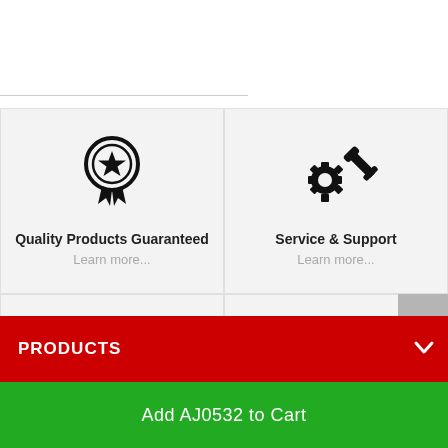[Figure (infographic): Four feature tiles in a 2x2 grid: Quality Products Guaranteed (medal/ribbon icon), Service & Support (gear and wrench icon), Next Day Delivery (delivery truck icon), Australian Owned since 1930 (Australia map icon). Each tile has a title and 'Learn more...' link.]
Quality Products Guaranteed
Learn more...
Service & Support
Learn more...
Next Day Delivery
Learn more...
Australian Owned since 1930
Learn more...
PRODUCTS
Add AJ0532 to Cart